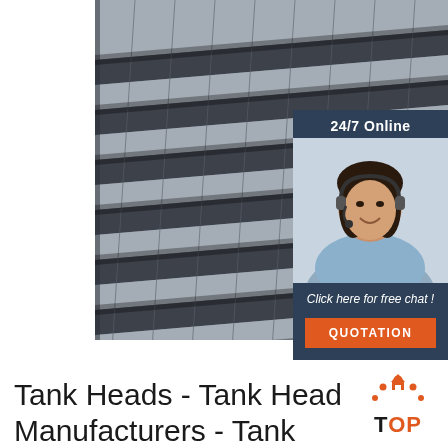[Figure (photo): Close-up photograph of stacked steel I-beams/structural steel sections viewed from an angle, gray metallic beams arranged in rows]
[Figure (infographic): Customer service callout box with dark blue background, '24/7 Online' text, photo of smiling woman with headset, 'Click here for free chat!' text, and orange QUOTATION button]
Tank Heads - Tank Head Manufacturers - Tank
[Figure (logo): TOP logo with orange dot/house icon above, orange 'TOP' text with black 'T']